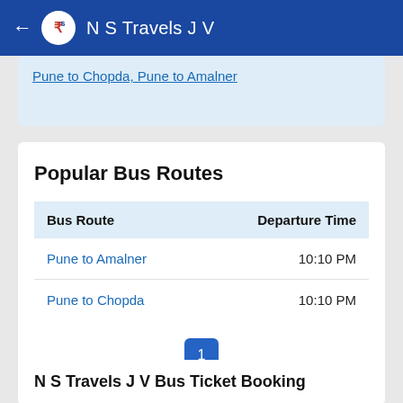N S Travels J V
Pune to Chopda, Pune to Amalner
Popular Bus Routes
| Bus Route | Departure Time |
| --- | --- |
| Pune to Amalner | 10:10 PM |
| Pune to Chopda | 10:10 PM |
1
N S Travels J V Bus Ticket Booking